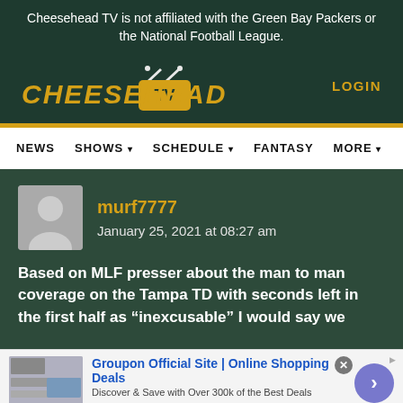Cheesehead TV is not affiliated with the Green Bay Packers or the National Football League.
[Figure (logo): Cheesehead TV logo with yellow text and TV icon]
LOGIN
NEWS  SHOWS  SCHEDULE  FANTASY  MORE
murf7777
January 25, 2021 at 08:27 am
Based on MLF presser about the man to man coverage on the Tampa TD with seconds left in the first half as “inexcusable” I would say we
Groupon Official Site | Online Shopping Deals
Discover & Save with Over 300k of the Best Deals
www.groupon.com